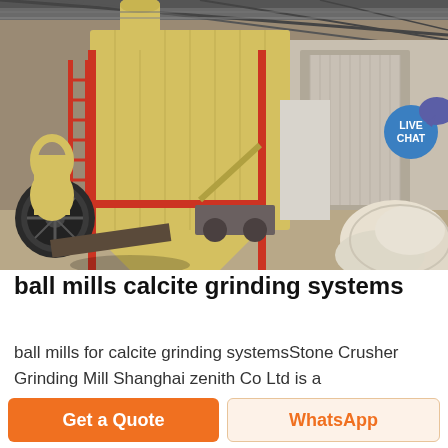[Figure (photo): Industrial ball mill / calcite grinding system inside a warehouse. Large yellow dust collector/grinding machinery with red structural supports, a large round fan or wheel at the left, conveyor equipment, and a pile of white mineral material (calcite/limestone) on the right side. Metal roof structure visible overhead.]
ball mills calcite grinding systems
ball mills for calcite grinding systemsStone Crusher Grinding Mill Shanghai zenith Co Ltd is a